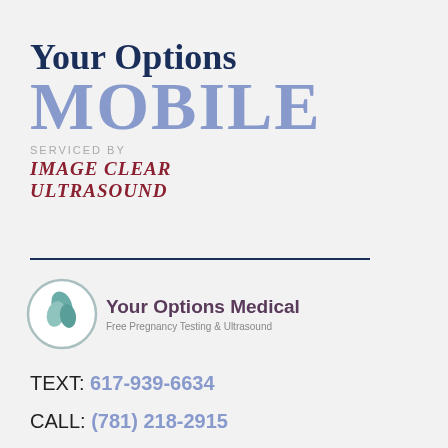[Figure (logo): Your Options Mobile logo with large serif text 'Your Options' in dark navy, 'MOBILE' in large light blue-gray letters, 'SERVICED BY' in small gray caps, and 'IMAGE CLEAR ULTRASOUND' in dark red italic bold]
[Figure (logo): Your Options Medical logo: circular emblem with teal leaf design, text 'Your Options Medical' in bold purple-brown, subtitle 'Free Pregnancy Testing & Ultrasound' in gray]
TEXT: 617-939-6634
CALL: (781) 218-2915